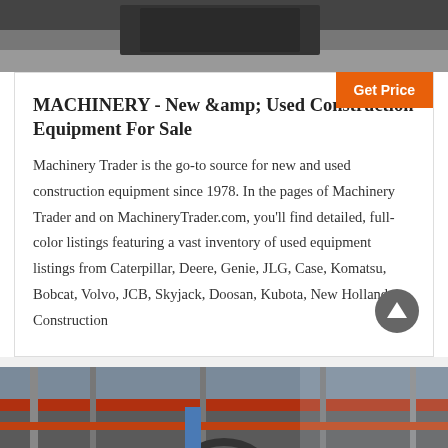[Figure (photo): Top portion of a construction machinery photo, showing dark equipment on a grey floor.]
Get Price
MACHINERY - New & Used Construction Equipment For Sale
Machinery Trader is the go-to source for new and used construction equipment since 1978. In the pages of Machinery Trader and on MachineryTrader.com, you'll find detailed, full-color listings featuring a vast inventory of used equipment listings from Caterpillar, Deere, Genie, JLG, Case, Komatsu, Bobcat, Volvo, JCB, Skyjack, Doosan, Kubota, New Holland Construction
[Figure (photo): Bottom photo showing an industrial factory interior with overhead cranes, red beams, and large machinery.]